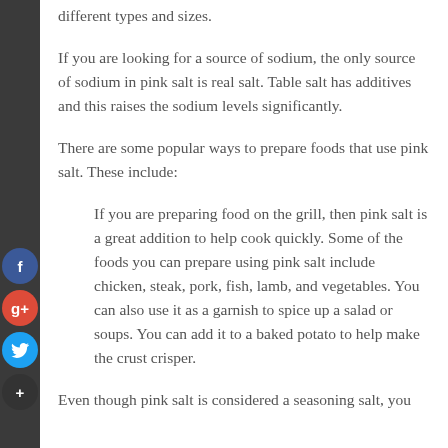different types and sizes.
If you are looking for a source of sodium, the only source of sodium in pink salt is real salt. Table salt has additives and this raises the sodium levels significantly.
There are some popular ways to prepare foods that use pink salt. These include:
If you are preparing food on the grill, then pink salt is a great addition to help cook quickly. Some of the foods you can prepare using pink salt include chicken, steak, pork, fish, lamb, and vegetables. You can also use it as a garnish to spice up a salad or soups. You can add it to a baked potato to help make the crust crisper.
Even though pink salt is considered a seasoning salt, you